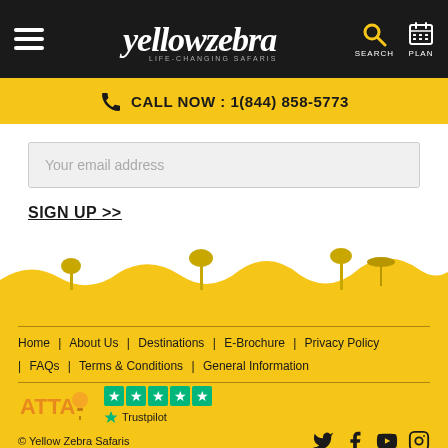Yellow Zebra - Life-Changing Safaris header navigation bar
CALL NOW : 1(844) 858-5773
Your email address
SIGN UP >>
Home | About Us | Destinations | E-Brochure | Privacy Policy | FAQs | Terms & Conditions | General Information
[Figure (logo): ATTA logo and Trustpilot 5-star rating badge]
© Yellow Zebra Safaris